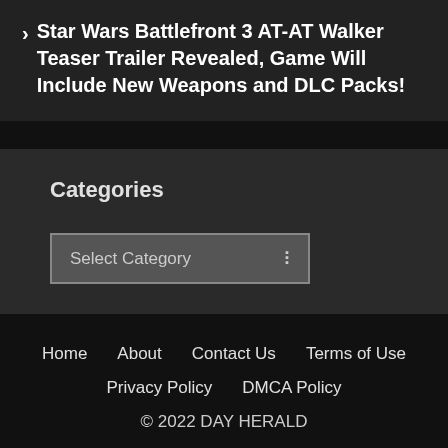> Star Wars Battlefront 3 AT-AT Walker Teaser Trailer Revealed, Game Will Include New Weapons and DLC Packs!
Categories
Select Category
Home  About  Contact Us  Terms of Use  Privacy Policy  DMCA Policy  © 2022 DAY HERALD